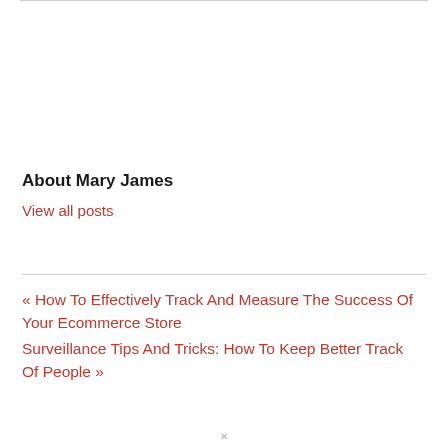About Mary James
View all posts
« How To Effectively Track And Measure The Success Of Your Ecommerce Store
Surveillance Tips And Tricks: How To Keep Better Track Of People »